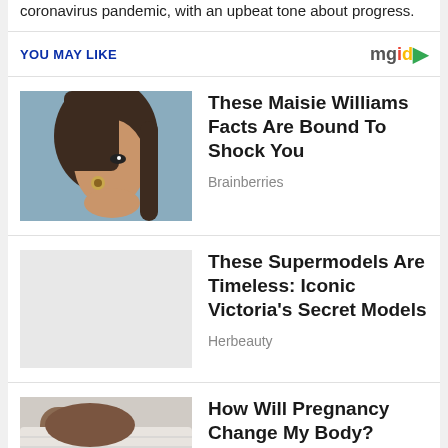coronavirus pandemic, with an upbeat tone about progress.
YOU MAY LIKE
[Figure (photo): Portrait photo of a young woman with brown hair, side profile, wearing a gold earring, against a blue background — thumbnail for Maisie Williams article]
These Maisie Williams Facts Are Bound To Shock You
Brainberries
These Supermodels Are Timeless: Iconic Victoria's Secret Models
Herbeauty
[Figure (photo): Close-up photo of a person's hand/arm in a white knit sweater — thumbnail for pregnancy article]
How Will Pregnancy Change My Body?